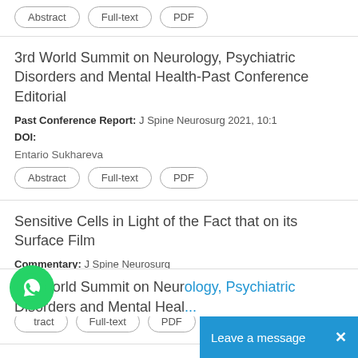Abstract | Full-text | PDF
3rd World Summit on Neurology, Psychiatric Disorders and Mental Health-Past Conference Editorial
Past Conference Report: J Spine Neurosurg 2021, 10:1
DOI:
Entario Sukhareva
Abstract | Full-text | PDF
Sensitive Cells in Light of the Fact that on its Surface Film
Commentary: J Spine Neurosurg
DOI:
Fred J Roisen
Abstract | Full-text | PDF
3rd World Summit on Neurology, Psychiatric Disorders and Mental Heal...
[Figure (other): WhatsApp contact button (green circle with phone icon)]
Leave a message  X